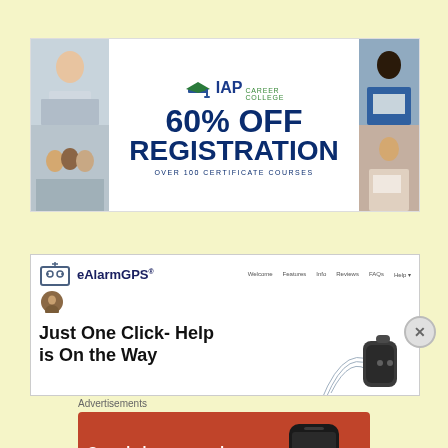[Figure (infographic): IAP Career College advertisement banner: 60% OFF REGISTRATION, Over 100 Certificate Courses, with photos of professionals]
[Figure (screenshot): eAlarmGPS website screenshot showing logo, navigation links, avatar, and headline 'Just One Click- Help is On the Way' with GPS device image]
Advertisements
[Figure (infographic): DuckDuckGo advertisement: 'Search, browse, and email with more privacy. All in One Free App' on orange background with phone mockup and DuckDuckGo logo]